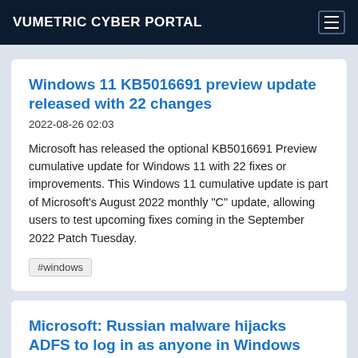VUMETRIC CYBER PORTAL
Windows 11 KB5016691 preview update released with 22 changes
2022-08-26 02:03
Microsoft has released the optional KB5016691 Preview cumulative update for Windows 11 with 22 fixes or improvements. This Windows 11 cumulative update is part of Microsoft's August 2022 monthly "C" update, allowing users to test upcoming fixes coming in the September 2022 Patch Tuesday.
#windows
Microsoft: Russian malware hijacks ADFS to log in as anyone in Windows